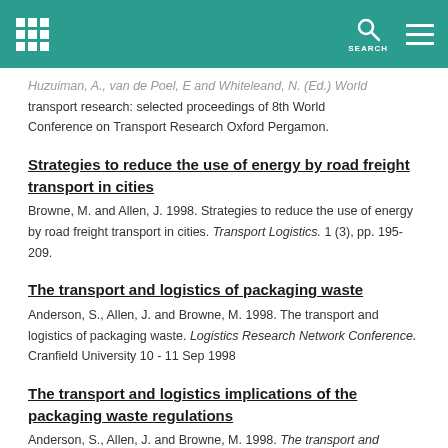SEARCH
Huzuiman, A., van de Poel, E and Whiteleand, N. (Ed.) World transport research: selected proceedings of 8th World Conference on Transport Research Oxford Pergamon.
Strategies to reduce the use of energy by road freight transport in cities
Browne, M. and Allen, J. 1998. Strategies to reduce the use of energy by road freight transport in cities. Transport Logistics. 1 (3), pp. 195-209.
The transport and logistics of packaging waste
Anderson, S., Allen, J. and Browne, M. 1998. The transport and logistics of packaging waste. Logistics Research Network Conference. Cranfield University 10 - 11 Sep 1998
The transport and logistics implications of the packaging waste regulations
Anderson, S., Allen, J. and Browne, M. 1998. The transport and logistics implications of the packaging waste regulations.